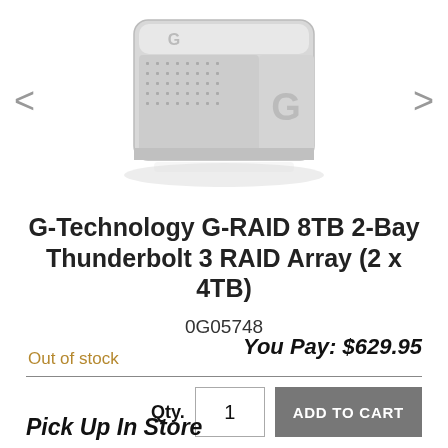[Figure (photo): G-Technology G-RAID external hard drive, silver aluminum enclosure with mesh grille, shown at an angle with reflection below. Navigation arrows (< >) on left and right sides for image carousel.]
G-Technology G-RAID 8TB 2-Bay Thunderbolt 3 RAID Array (2 x 4TB)
0G05748
Out of stock
You Pay: $629.95
Qty. 1  ADD TO CART
Pick Up In Store